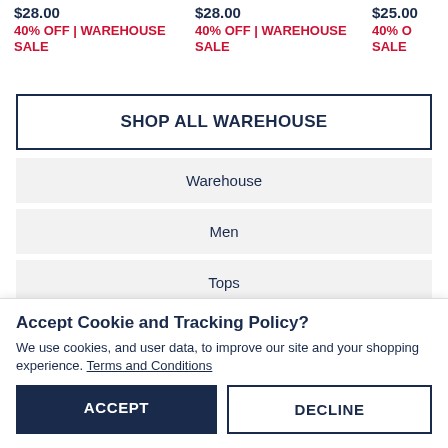$28.00
40% OFF | WAREHOUSE SALE
$28.00
40% OFF | WAREHOUSE SALE
$25.00
40% O... SALE
SHOP ALL WAREHOUSE
Warehouse
Men
Tops
Accept Cookie and Tracking Policy?
We use cookies, and user data, to improve our site and your shopping experience. Terms and Conditions
ACCEPT
DECLINE